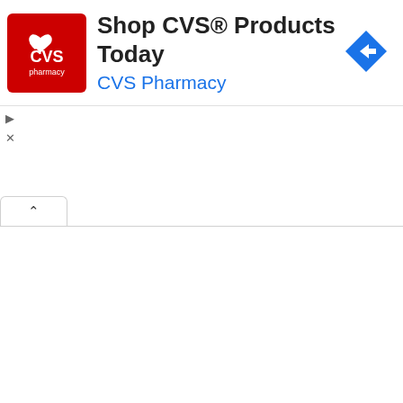[Figure (logo): CVS Pharmacy advertisement banner with red CVS logo, text 'Shop CVS® Products Today' and 'CVS Pharmacy' in blue, with a blue navigation arrow icon on the right]
Shop CVS® Products Today
CVS Pharmacy